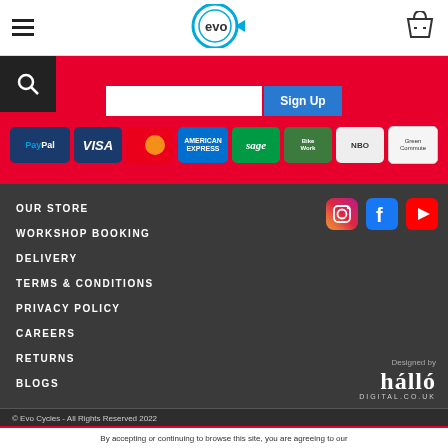evo cycles header with hamburger menu, logo, and basket icon
[Figure (logo): evo brand logo - circular icon with 'evo' text and arrow/eye shape in blue]
Sign Up newsletter subscription bar
[Figure (infographic): Payment method logos: PayPal, VISA, Mastercard, American Express, Sage, BikeWork, NBD, Green Commute Initiative]
OUR STORE
WORKSHOP BOOKING
DELIVERY
TERMS & CONDITIONS
PRIVACY POLICY
CAREERS
RETURNS
BLOGS
[Figure (logo): Social media icons: Instagram, Facebook, YouTube]
Designed by
hállo
DIGITAL.CO.UK
© Evo Cycles - All Rights Reserved 2022
By accepting or continuing to browse this site, you are agreeing to our